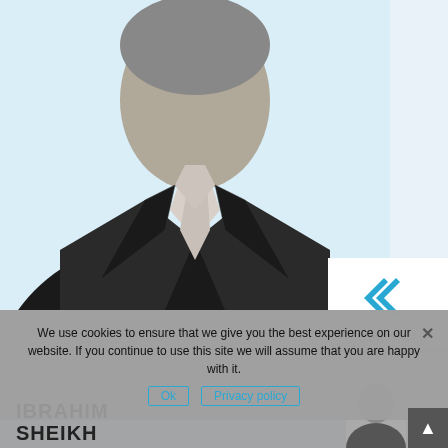[Figure (photo): Black and white professional headshot/portrait of a man in a dark suit with a light tie, cropped from chest up, on a light blue background]
[Figure (logo): Double left-arrow chevron icon in cyan/blue color with the word CONTACT below it in dark text, on a white background panel]
IBRAHIM SHEIKH
We use cookies to ensure that we give you the best experience on our website. If you continue to use this site we will assume that you are happy with it.
Ok   Privacy policy